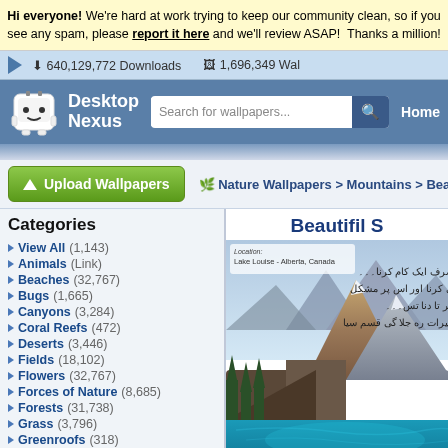Hi everyone! We're hard at work trying to keep our community clean, so if you see any spam, please report it here and we'll review ASAP! Thanks a million!
640,129,772 Downloads   1,696,349 Wallpapers
[Figure (screenshot): Desktop Nexus logo with robot mascot, search bar, and Home navigation]
[Figure (screenshot): Upload Wallpapers button and Nature Wallpapers > Mountains > Bea... breadcrumb]
Categories
View All (1,143)
Animals (Link)
Beaches (32,767)
Bugs (1,665)
Canyons (3,284)
Coral Reefs (472)
Deserts (3,446)
Fields (18,102)
Flowers (32,767)
Forces of Nature (8,685)
Forests (31,738)
Grass (3,796)
Greenroofs (318)
Lakes (32,767)
Mountains (32,767)
Beautifil S
[Figure (photo): Mountain lake landscape photo with Urdu text overlay, Location: Lake Louise - Alberta, Canada]